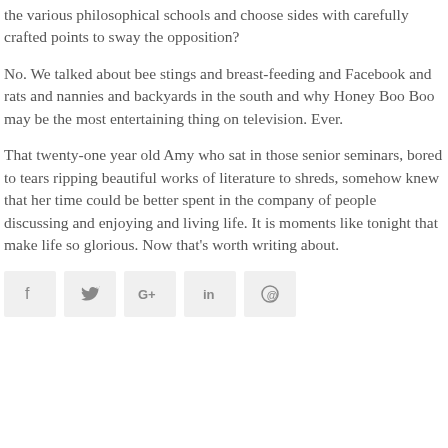the various philosophical schools and choose sides with carefully crafted points to sway the opposition?
No. We talked about bee stings and breast-feeding and Facebook and rats and nannies and backyards in the south and why Honey Boo Boo may be the most entertaining thing on television. Ever.
That twenty-one year old Amy who sat in those senior seminars, bored to tears ripping beautiful works of literature to shreds, somehow knew that her time could be better spent in the company of people discussing and enjoying and living life. It is moments like tonight that make life so glorious. Now that's worth writing about.
[Figure (other): Social media sharing buttons: Facebook (f), Twitter (bird), Google+ (G+), LinkedIn (in), Pinterest (pin)]